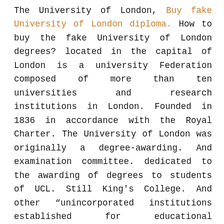The University of London, Buy fake University of London diploma. How to buy the fake University of London degrees? located in the capital of London is a university Federation composed of more than ten universities and research institutions in London. Founded in 1836 in accordance with the Royal Charter. The University of London was originally a degree-awarding. And examination committee. dedicated to the awarding of degrees to students of UCL. Still King's College. And other "unincorporated institutions established for educational purposes". As of October 2019, London University has 18 member institutions. 2 million alumni, including 12 monarchs or royal family members. Still 52 presidents or prime ministers. 84 Nobel laureates. 3 Olympic gold medalists. And "fathers of nations" of several countries.
How to buy a fake University of London diploma? De...